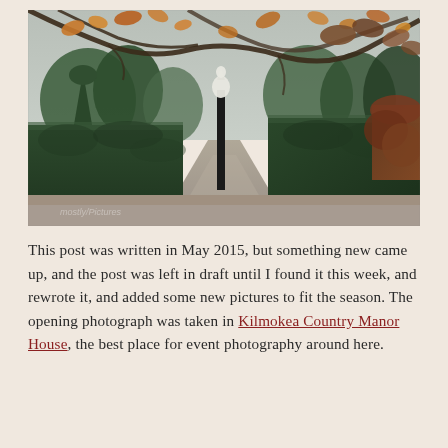[Figure (photo): Autumn garden scene with neatly trimmed dark green hedges and topiary, a gravel path, bare tree branches with orange and brown leaves overhead, and a white horse head sculpture on a dark post in the middle distance. Overcast, moody atmosphere.]
This post was written in May 2015, but something new came up, and the post was left in draft until I found it this week, and rewrote it, and added some new pictures to fit the season. The opening photograph was taken in Kilmokea Country Manor House, the best place for event photography around here.